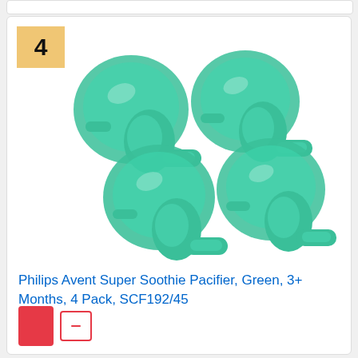[Figure (photo): Four green Philips Avent Super Soothie pacifiers arranged in two rows of two against a white background. The pacifiers are translucent green with a round shield and a cylindrical nipple.]
Philips Avent Super Soothie Pacifier, Green, 3+ Months, 4 Pack, SCF192/45